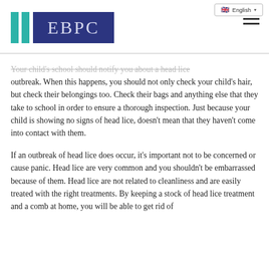[Figure (logo): EBPC logo with teal vertical bars and dark blue rectangle containing white text 'EBPC']
Your child's school should notify you about a head lice outbreak. When this happens, you should not only check your child's hair, but check their belongings too. Check their bags and anything else that they take to school in order to ensure a thorough inspection. Just because your child is showing no signs of head lice, doesn't mean that they haven't come into contact with them.
If an outbreak of head lice does occur, it's important not to be concerned or cause panic. Head lice are very common and you shouldn't be embarrassed because of them. Head lice are not related to cleanliness and are easily treated with the right treatments. By keeping a stock of head lice treatment and a comb at home, you will be able to get rid of them...